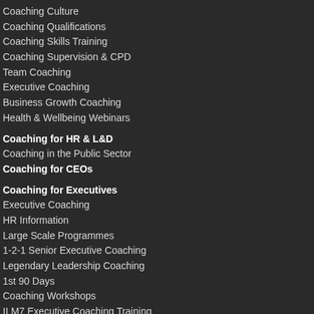Coaching Culture
Coaching Qualifications
Coaching Skills Training
Coaching Supervision & CPD
Team Coaching
Executive Coaching
Business Growth Coaching
Health & Wellbeing Webinars
Coaching for HR & L&D
Coaching in the Public Sector
Coaching for CEOs
Coaching for Executives
Executive Coaching
HR Information
Large Scale Programmes
1-2-1 Senior Executive Coaching
Legendary Leadership Coaching
1st 90 Days
Coaching Workshops
ILM7 Executive Coaching Training
Other Training Support
Executive Tips Sign Up
Coaching for Business Owners
Coaching for Business Growth
Business Coaching Programmes